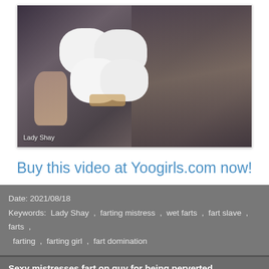[Figure (photo): Woman with dark hair and black nail polish holding white marshmallows, watermark 'Lady Shay' in lower left corner]
Buy this video at Yoogirls.com now!
Date: 2021/08/18
Keywords: Lady Shay , farting mistress , wet farts , fart slave , farts , farting , farting girl , fart domination
Sexy mistresses fart on guy for being perverted
This guy was a pervert and mistresses Nikki and Mini gave him a taste of perverted behavior. He was made to watch them get naked